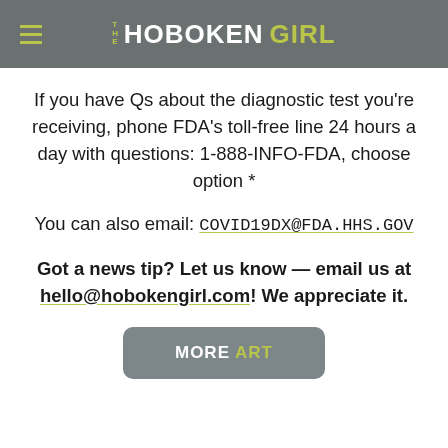THE HOBOKEN GIRL
If you have Qs about the diagnostic test you're receiving, phone FDA's toll-free line 24 hours a day with questions: 1-888-INFO-FDA, choose option *
You can also email: COVID19DX@FDA.HHS.GOV
Got a news tip? Let us know — email us at hello@hobokengirl.com! We appreciate it.
MORE ART